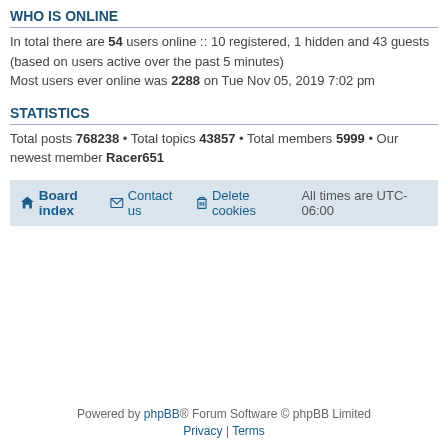WHO IS ONLINE
In total there are 54 users online :: 10 registered, 1 hidden and 43 guests (based on users active over the past 5 minutes)
Most users ever online was 2288 on Tue Nov 05, 2019 7:02 pm
STATISTICS
Total posts 768238 • Total topics 43857 • Total members 5999 • Our newest member Racer651
Board index   Contact us   Delete cookies   All times are UTC-06:00
Powered by phpBB® Forum Software © phpBB Limited
Privacy | Terms